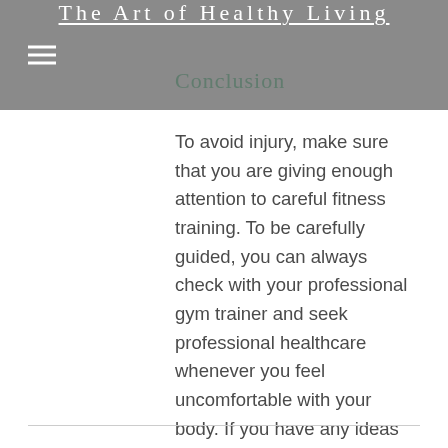The Art of Healthy Living
Conclusion
To avoid injury, make sure that you are giving enough attention to careful fitness training. To be carefully guided, you can always check with your professional gym trainer and seek professional healthcare whenever you feel uncomfortable with your body. If you have any ideas on how to make a safer fitness training, share it by posting comments below. Do not forget to share this article with your friends to help them pre-empt the occurrence of the above mentioned fitness injuries!